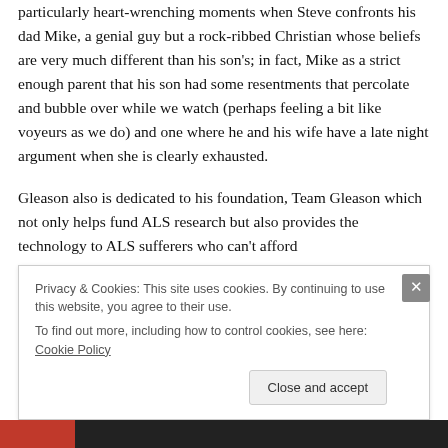particularly heart-wrenching moments when Steve confronts his dad Mike, a genial guy but a rock-ribbed Christian whose beliefs are very much different than his son's; in fact, Mike as a strict enough parent that his son had some resentments that percolate and bubble over while we watch (perhaps feeling a bit like voyeurs as we do) and one where he and his wife have a late night argument when she is clearly exhausted.
Gleason also is dedicated to his foundation, Team Gleason which not only helps fund ALS research but also provides the technology to ALS sufferers who can't afford
Privacy & Cookies: This site uses cookies. By continuing to use this website, you agree to their use.
To find out more, including how to control cookies, see here: Cookie Policy